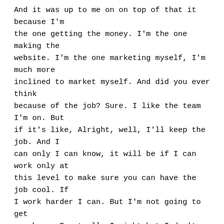And it was up to me on on top of that it because I'm the one getting the money. I'm the one making the website. I'm the one marketing myself, I'm much more inclined to market myself. And did you ever think because of the job? Sure. I like the team I'm on. But if it's like, Alright, well, I'll keep the job. And I can only I can know, it will be if I can work only at this level to make sure you can have the job cool. If I work harder I can. But I'm not going to get anywhere. Eventually I might but I don't want to work 80 hours and not have the life in order to get promoted to levels. I don't want to do that. So it's like, let's make this company where it's my time and I define the hours. And eventually, I want to figure out a way to make some passive income with us with this. But I do know The first step is to work for myself. And then eventually once I get that on my belt, then I can be like, Alright, how can they generate this for